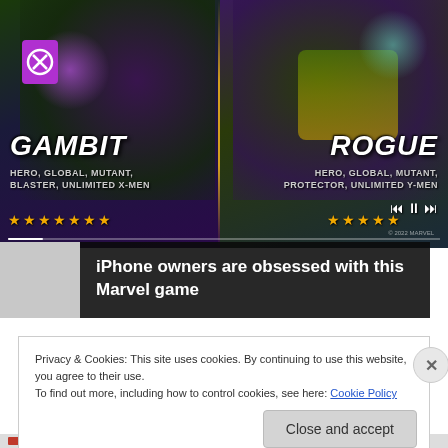[Figure (illustration): Marvel game banner showing Gambit and Rogue characters side by side. Gambit on left with purple glow, tagged HERO, GLOBAL, MUTANT, BLASTER, UNLIMITED X-MEN with 7 gold stars. Rogue on right with green/yellow costume, tagged HERO, GLOBAL, MUTANT, PROTECTOR, UNLIMITED Y-MEN with 5 gold stars. Media controls and progress bar visible.]
iPhone owners are obsessed with this Marvel game
Privacy & Cookies: This site uses cookies. By continuing to use this website, you agree to their use.
To find out more, including how to control cookies, see here: Cookie Policy
Close and accept